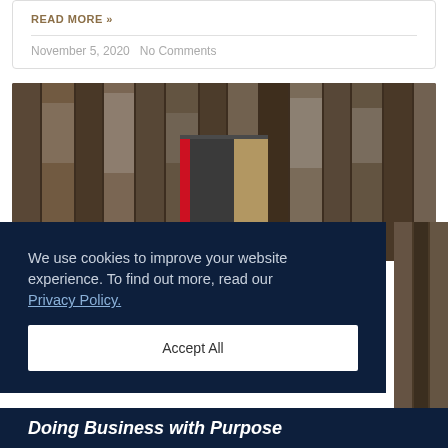READ MORE »
November 5, 2020 No Comments
[Figure (photo): A book with a red stripe on the spine, set against a weathered wood background with vertical slats.]
We use cookies to improve your website experience. To find out more, read our Privacy Policy.
Accept All
Doing Business with Purpose